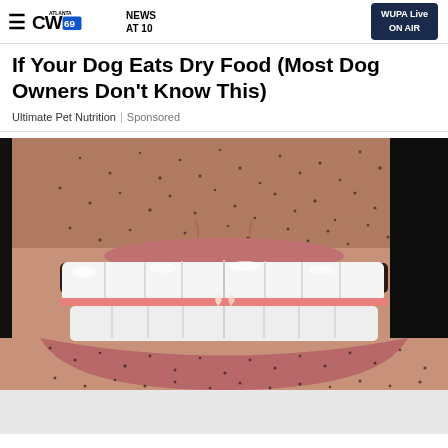ATLANTA CW69 NEWS AT 10 | WUPA Live ON AIR
If Your Dog Eats Dry Food (Most Dog Owners Don't Know This)
Ultimate Pet Nutrition | Sponsored
[Figure (photo): Close-up photo of a man's lower face showing bright white teeth with stubble/beard around the mouth area]